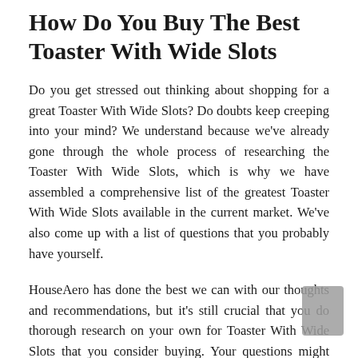How Do You Buy The Best Toaster With Wide Slots
Do you get stressed out thinking about shopping for a great Toaster With Wide Slots? Do doubts keep creeping into your mind? We understand because we've already gone through the whole process of researching the Toaster With Wide Slots, which is why we have assembled a comprehensive list of the greatest Toaster With Wide Slots available in the current market. We've also come up with a list of questions that you probably have yourself.
HouseAero has done the best we can with our thoughts and recommendations, but it's still crucial that you do thorough research on your own for Toaster With Wide Slots that you consider buying. Your questions might include